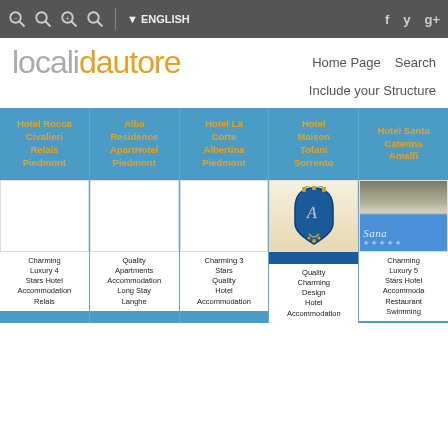localidautore — Home Page | Search | Include your Structure
| Hotel Rocca Civalieri Relais Piedmont | Alba Residence ApartHotel Piedmont | Hotel La Corte Albertina Piedmont | Hotel Maison Tofani Sorrento | Hotel Santa Caterina Amalfi |
| --- | --- | --- | --- | --- |
| Charming Luxury 4 Stars Hotel Accommodation Relais | Quality Apartments Accommodation Long Stay Langhe | Charming 3 Stars Quality Hotel Accommodation | Quality Charming Design Hotel Accommodation | Charming Luxury 5 Stars Hotel Accommodation Restaurant Swimming |